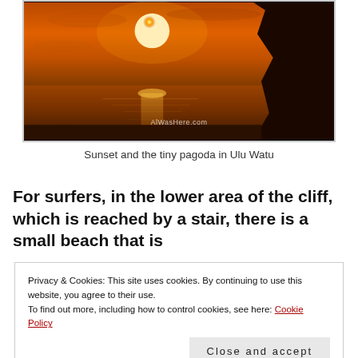[Figure (photo): Sunset over the ocean with a cliff silhouette on the right and a watermark 'AlWasHere.com' in the lower center]
Sunset and the tiny pagoda in Ulu Watu
For surfers, in the lower area of the cliff, which is reached by a stair, there is a small beach that is
Privacy & Cookies: This site uses cookies. By continuing to use this website, you agree to their use.
To find out more, including how to control cookies, see here: Cookie Policy
Close and accept